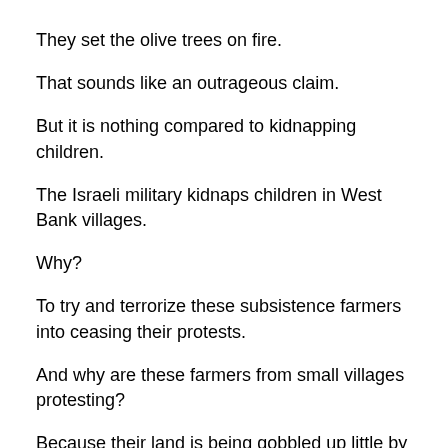They set the olive trees on fire.
That sounds like an outrageous claim.
But it is nothing compared to kidnapping children.
The Israeli military kidnaps children in West Bank villages.
Why?
To try and terrorize these subsistence farmers into ceasing their protests.
And why are these farmers from small villages protesting?
Because their land is being gobbled up little by little.
“Hey, I was using that land…by the way.”
Picking olives.